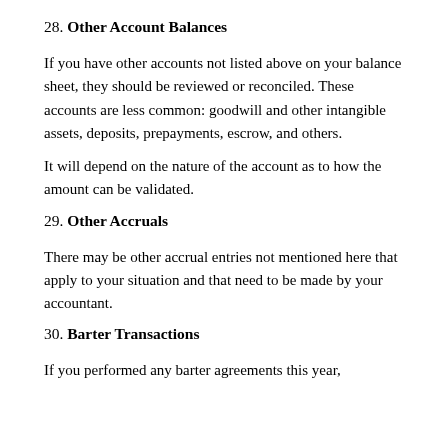28. Other Account Balances
If you have other accounts not listed above on your balance sheet, they should be reviewed or reconciled. These accounts are less common: goodwill and other intangible assets, deposits, prepayments, escrow, and others.
It will depend on the nature of the account as to how the amount can be validated.
29. Other Accruals
There may be other accrual entries not mentioned here that apply to your situation and that need to be made by your accountant.
30. Barter Transactions
If you performed any barter agreements this year,